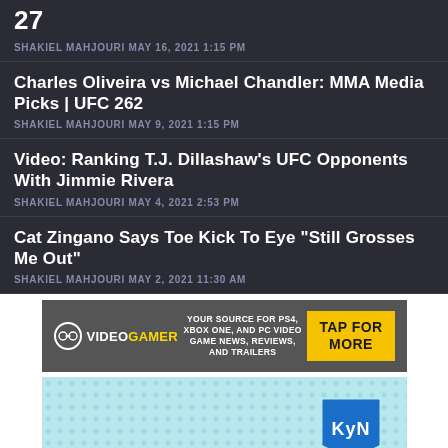27
SHAKIEL MAHJOURI MAY 16, 2021 1:15 PM
Charles Oliveira vs Michael Chandler: MMA Media Picks | UFC 262
SHAKIEL MAHJOURI MAY 9, 2021 1:15 PM
Video: Ranking T.J. Dillashaw's UFC Opponents With Jimmie Rivera
SHAKIEL MAHJOURI MAY 4, 2021 2:53 PM
Cat Zingano Says Toe Kick To Eye "Still Grosses Me Out"
SHAKIEL MAHJOURI MAY 2, 2021 11:30 AM
[Figure (infographic): VideoGamer advertisement banner: dark grey background with VideoGamer logo, tagline 'Your source for PS4, Xbox One, and PC video game news, reviews, and trailers', and yellow 'TAP FOR MORE' button]
[Figure (infographic): KyN advertisement banner with light blue halftone dot background and KyN logo badge in upper right corner]